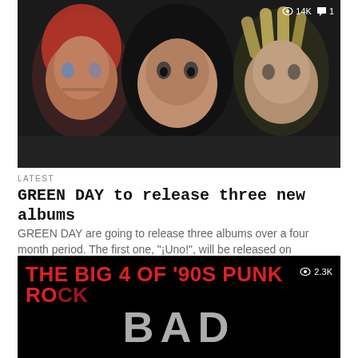[Figure (photo): Three members of Green Day band posing against a dark background. One has red hair on the left, one with black hair in the center, one with spiked blonde hair on the right. Stats overlay: eye icon 14K, speech bubble icon 1.]
LATEST
GREEN DAY to release three new albums
GREEN DAY are going to release three albums over a four month period. The first one, "¡Uno!", will be released on September...
[Figure (photo): Dark background with 'THE BIG 4 OF '90S PUNK ROCK' in large red text. Below it 'BAD' in large textured grey letters. Stats overlay: eye icon 2.3K.]